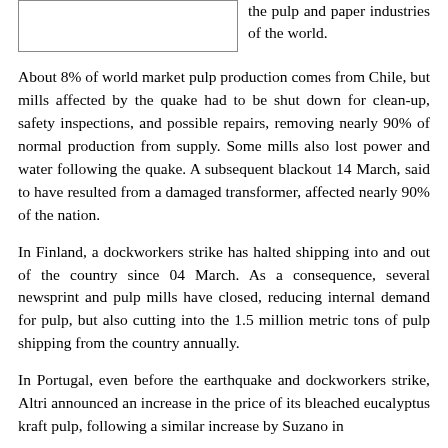[Figure (other): Empty bordered rectangle on the left side of the top row]
the pulp and paper industries of the world.
About 8% of world market pulp production comes from Chile, but mills affected by the quake had to be shut down for clean-up, safety inspections, and possible repairs, removing nearly 90% of normal production from supply. Some mills also lost power and water following the quake. A subsequent blackout 14 March, said to have resulted from a damaged transformer, affected nearly 90% of the nation.
In Finland, a dockworkers strike has halted shipping into and out of the country since 04 March. As a consequence, several newsprint and pulp mills have closed, reducing internal demand for pulp, but also cutting into the 1.5 million metric tons of pulp shipping from the country annually.
In Portugal, even before the earthquake and dockworkers strike, Altri announced an increase in the price of its bleached eucalyptus kraft pulp, following a similar increase by Suzano in